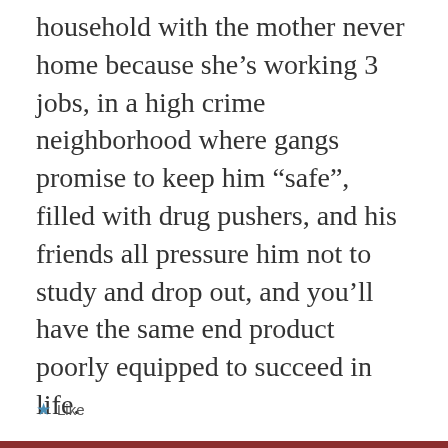household with the mother never home because she’s working 3 jobs, in a high crime neighborhood where gangs promise to keep him “safe”, filled with drug pushers, and his friends all pressure him not to study and drop out, and you’ll have the same end product poorly equipped to succeed in life.
Like